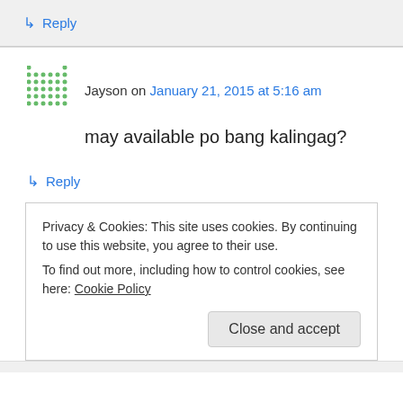↳ Reply
Jayson on January 21, 2015 at 5:16 am
may available po bang kalingag?
↳ Reply
Privacy & Cookies: This site uses cookies. By continuing to use this website, you agree to their use. To find out more, including how to control cookies, see here: Cookie Policy
Close and accept